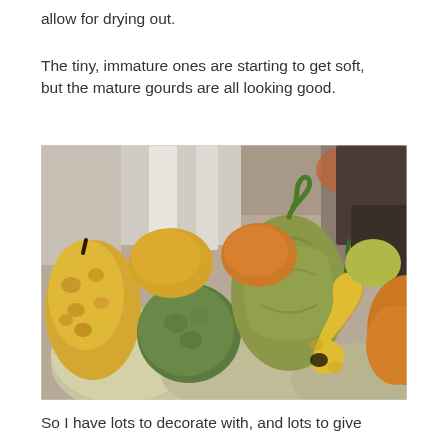allow for drying out.
The tiny, immature ones are starting to get soft, but the mature gourds are all looking good.
[Figure (photo): A close-up photograph of a pile of various gourds and squash in yellow, green, orange, and striped colors with curling green stems, displayed outdoors.]
So I have lots to decorate with, and lots to give